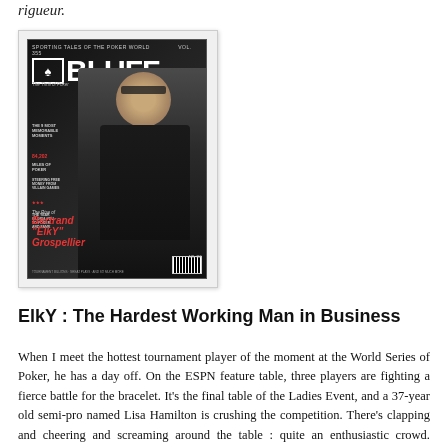rigueur.
[Figure (photo): Cover of BLUFF magazine featuring Bertrand 'ElkY' Grospellier, a poker player with blonde hair and sunglasses, arms crossed, wearing a black t-shirt. The magazine title BLUFF is in large white letters. Text on cover includes 'The Rise of Bertrand ElkY Grospellier' in red italic text.]
ElkY : The Hardest Working Man in Business
When I meet the hottest tournament player of the moment at the World Series of Poker, he has a day off. On the ESPN feature table, three players are fighting a fierce battle for the bracelet. It's the final table of the Ladies Event, and a 37-year old semi-pro named Lisa Hamilton is crushing the competition. There's clapping and cheering and screaming around the table : quite an enthusiastic crowd. Behind the